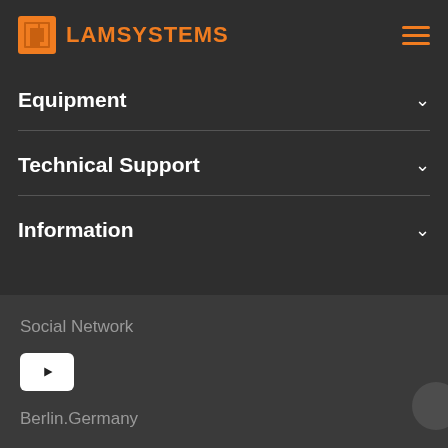[Figure (logo): LAMSYSTEMS logo with orange square icon and hamburger menu icon on dark background]
Equipment
Technical Support
Information
Social Network
[Figure (logo): YouTube icon button - white rounded square with play triangle]
Berlin.Germany